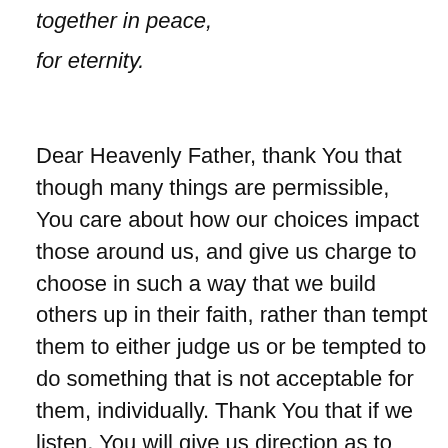together in peace,
for eternity.
Dear Heavenly Father, thank You that though many things are permissible, You care about how our choices impact those around us, and give us charge to choose in such a way that we build others up in their faith, rather than tempt them to either judge us or be tempted to do something that is not acceptable for them, individually. Thank You that if we listen, You will give us direction as to how to walk in a way that will bring peace and build up those around us. Forgive us for walking in the